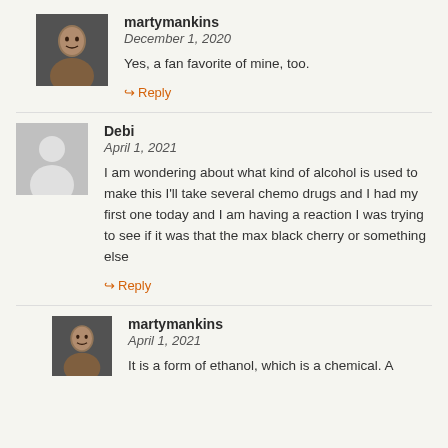[Figure (photo): Profile photo of martymankins - man's face]
martymankins
December 1, 2020
Yes, a fan favorite of mine, too.
Reply
[Figure (illustration): Generic grey silhouette avatar placeholder]
Debi
April 1, 2021
I am wondering about what kind of alcohol is used to make this I'll take several chemo drugs and I had my first one today and I am having a reaction I was trying to see if it was that the max black cherry or something else
Reply
[Figure (photo): Profile photo of martymankins - man's face]
martymankins
April 1, 2021
It is a form of ethanol, which is a chemical. A